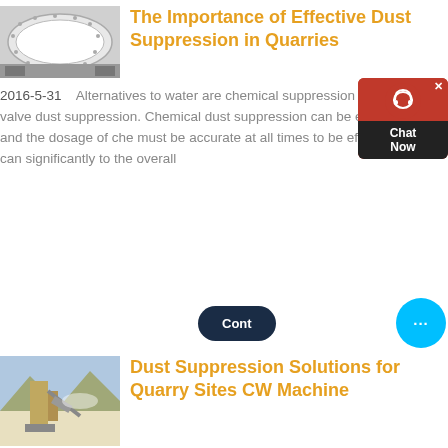[Figure (photo): Industrial ball mill or cylindrical grinding machine, grey and white colored, viewed from the side]
The Importance of Effective Dust Suppression in Quarries
2016-5-31   Alternatives to water are chemical suppression and solenoid valve dust suppression. Chemical dust suppression can be expensive and the dosage of che must be accurate at all times to be effective. This can significantly to the overall
[Figure (screenshot): Chat widget with red background, headset icon, close button, and Chat Now text]
[Figure (photo): Quarry site with large industrial crusher/conveyor equipment, mountains and blue sky in background]
Dust Suppression Solutions for Quarry Sites CW Machine